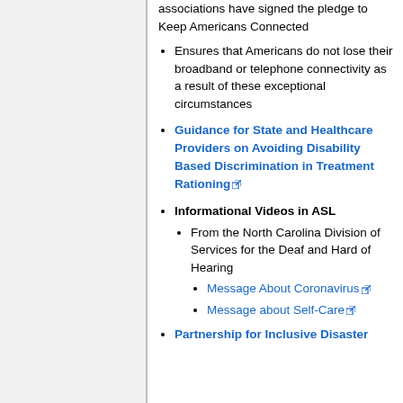associations have signed the pledge to Keep Americans Connected
Ensures that Americans do not lose their broadband or telephone connectivity as a result of these exceptional circumstances
Guidance for State and Healthcare Providers on Avoiding Disability Based Discrimination in Treatment Rationing [external link]
Informational Videos in ASL
From the North Carolina Division of Services for the Deaf and Hard of Hearing
Message About Coronavirus [external link]
Message about Self-Care [external link]
Partnership for Inclusive Disaster